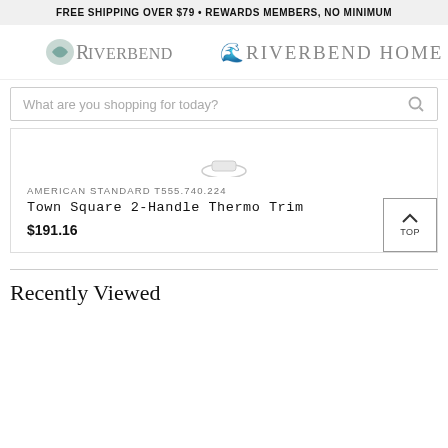FREE SHIPPING OVER $79 • REWARDS MEMBERS, NO MINIMUM
[Figure (logo): Riverbend Home logo with navigation icons]
What are you shopping for today?
AMERICAN STANDARD T555.740.224
Town Square 2-Handle Thermo Trim
$191.16
Recently Viewed